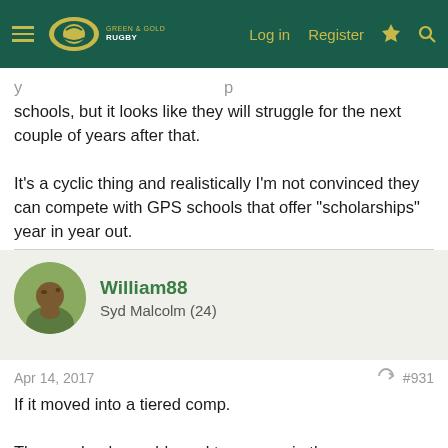Green & Gold Rugby — Log in  Register
schools, but it looks like they will struggle for the next couple of years after that.

It's a cyclic thing and realistically I'm not convinced they can compete with GPS schools that offer "scholarships" year in year out.
William88
Syd Malcolm (24)
Apr 14, 2017  #931
If it moved into a tiered comp.

Those schools would need to engage in the same scholarship attempts GPS schools engage in to compete.
sidelineview